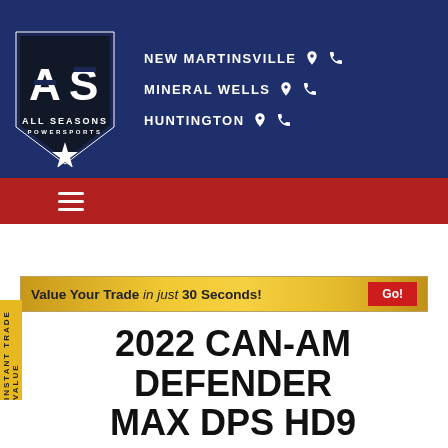[Figure (logo): All Seasons Powersports shield logo with 'AS' letters and star, dark navy/black with white text]
NEW MARTINSVILLE 📍 📞
MINERAL WELLS 📍 📞
HUNTINGTON 📍 📞
Value Your Trade in just 30 Seconds! Go!
2022 CAN-AM DEFENDER MAX DPS HD9
New Utility Vehicles · Defender Max
CALL NOW
$15,6